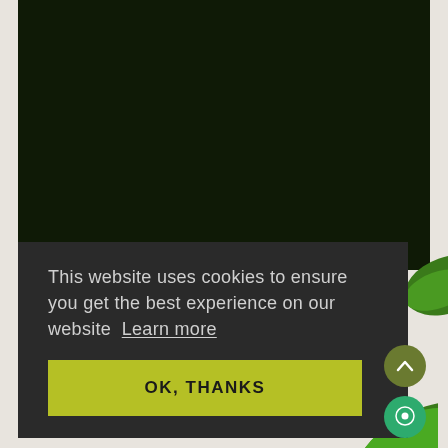[Figure (screenshot): Dark green background area representing a website screenshot with a cookie consent banner overlay. The banner has dark charcoal background with text about cookie usage and a yellow-green OK button. Two circular buttons (scroll-up and chat) appear on the right side.]
This website uses cookies to ensure you get the best experience on our website  Learn more
OK, THANKS